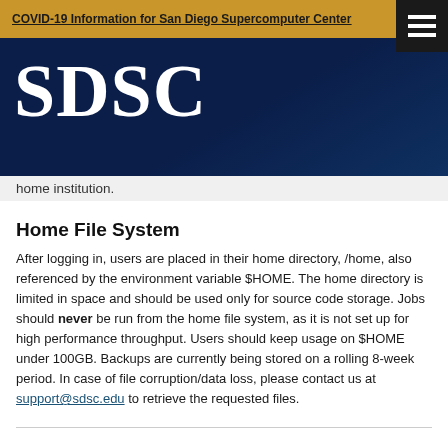COVID-19 Information for San Diego Supercomputer Center
[Figure (logo): SDSC logo in white text on dark navy blue background header]
home institution.
Home File System
After logging in, users are placed in their home directory, /home, also referenced by the environment variable $HOME. The home directory is limited in space and should be used only for source code storage. Jobs should never be run from the home file system, as it is not set up for high performance throughput. Users should keep usage on $HOME under 100GB. Backups are currently being stored on a rolling 8-week period. In case of file corruption/data loss, please contact us at support@sdsc.edu to retrieve the requested files.